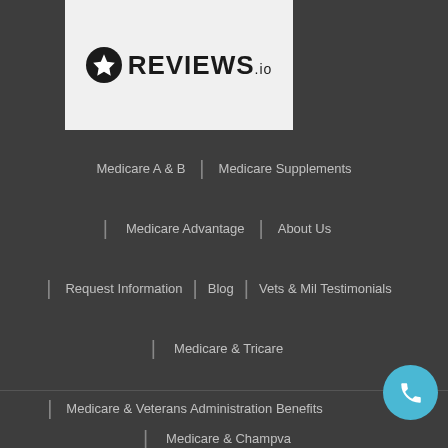[Figure (logo): Reviews.io logo with star icon on light gray background]
Medicare A & B
Medicare Supplements
Medicare Advantage
About Us
Request Information
Blog
Vets & Mil Testimonials
Medicare & Tricare
Medicare & Veterans Administration Benefits
Medicare & Champva